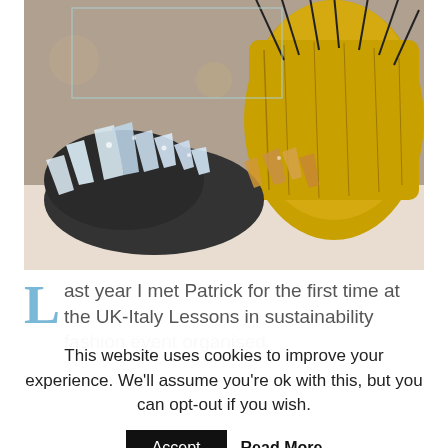[Figure (photo): Close-up photo of crystal/glass decorative objects and figurines arranged on a white surface next to a large golden yellow textured vase or sculpture with dark metal wire stems. The crystals are clear and amber-toned, sparkling under lighting.]
Last year I met Patrick for the first time at the UK-Italy Lessons in sustainability fashion event organised
This website uses cookies to improve your experience. We'll assume you're ok with this, but you can opt-out if you wish.
Accept   Read More